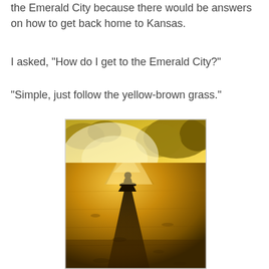the Emerald City because there would be answers on how to get back home to Kansas.
I asked, "How do I get to the Emerald City?"
"Simple, just follow the yellow-brown grass."
[Figure (photo): A person standing in golden sunlight on dry grass, with a long shadow extending toward the camera, creating a dramatic silhouette effect. The background shows trees bathed in warm golden light.]